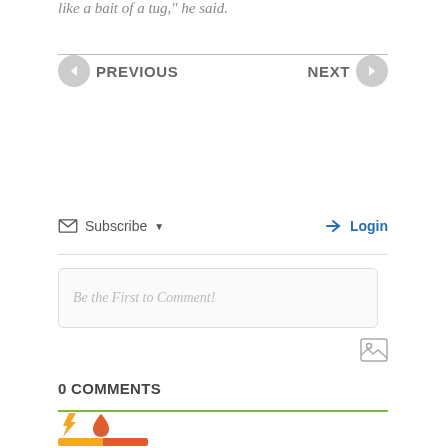like a bait of a tug," he said.
PREVIOUS
NEXT
Subscribe
Login
Be the First to Comment!
0 COMMENTS